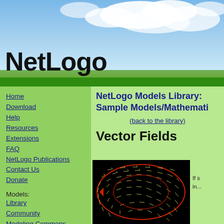[Figure (screenshot): NetLogo website header with sky/clouds background and large bold NetLogo text, with green bar below]
NetLogo
Home
Download
Help
Resources
Extensions
FAQ
NetLogo Publications
Contact Us
Donate
Models:
Library
Community
Modeling Commons
Beginners Interactive NetLogo Dictionary
User Manuals:
Web
Printable
NetLogo Models Library: Sample Models/Mathematics
(back to the library)
Vector Fields
[Figure (screenshot): NetLogo simulation showing vector field visualization with curved arrows on black background and a red oval path]
If ... in...